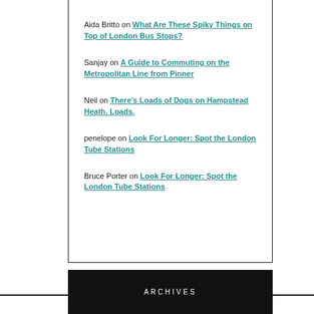Aida Britto on What Are These Spiky Things on Top of London Bus Stops?
Sanjay on A Guide to Commuting on the Metropolitan Line from Pinner
Neil on There’s Loads of Dogs on Hampstead Heath. Loads.
penelope on Look For Longer: Spot the London Tube Stations
Bruce Porter on Look For Longer: Spot the London Tube Stations
ARCHIVES